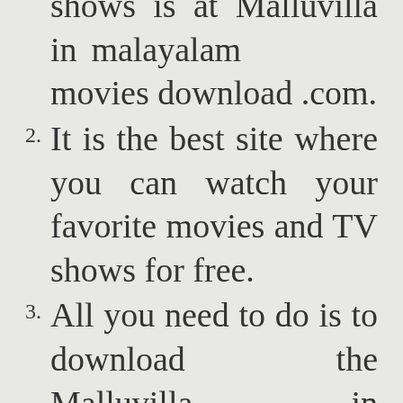shows is at Malluvilla in malayalam movies download .com.
It is the best site where you can watch your favorite movies and TV shows for free.
All you need to do is to download the Malluvilla in malayalam movies download App and you are ready to go.
If you want to download movies from Malluvilla in malayalam movies